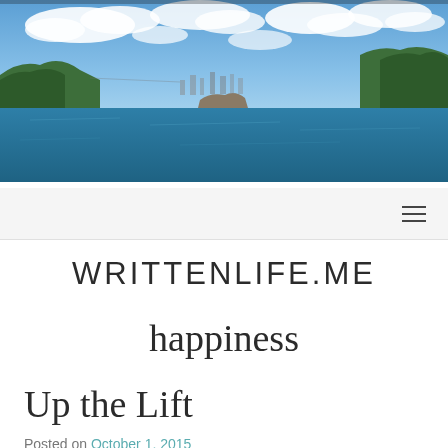[Figure (photo): Panoramic photo of a harbour with blue sky, clouds, water, trees and city skyline in the distance]
≡
WRITTENLIFE.ME
happiness
Up the Lift
Posted on October 1, 2015